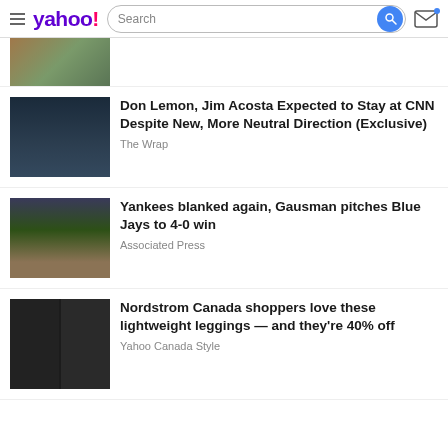yahoo! [Search] [mail icon]
[Figure (photo): Partial thumbnail of an article (top cropped), brownish/green tones]
Don Lemon, Jim Acosta Expected to Stay at CNN Despite New, More Neutral Direction (Exclusive)
The Wrap
Yankees blanked again, Gausman pitches Blue Jays to 4-0 win
Associated Press
Nordstrom Canada shoppers love these lightweight leggings — and they're 40% off
Yahoo Canada Style